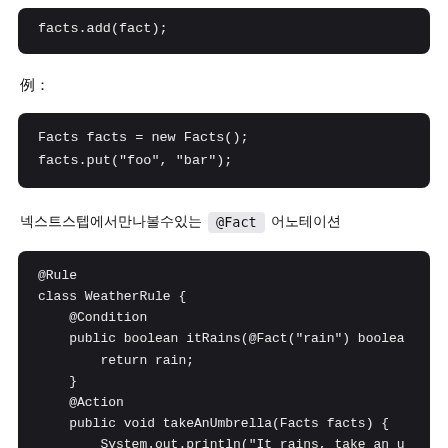facts.add(fact);
例：
Facts facts = new Facts();
facts.put("foo", "bar");
넥스트스텝에서만나볼수있는 @Fact 어노테이션
@Rule
class WeatherRule {
    @Condition
    public boolean itRains(@Fact("rain") boolea
        return rain;
    }
    @Action
    public void takeAnUmbrella(Facts facts) {
        System.out.println("It rains, take an u